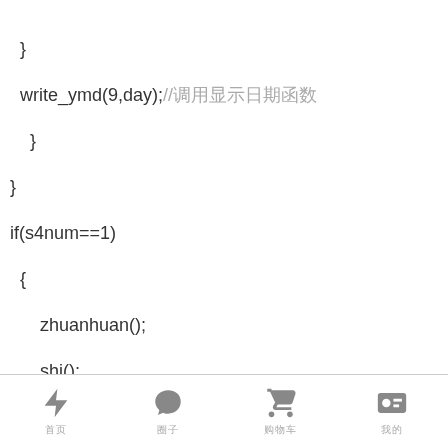}

write_ymd(9,day);//调用显示日期函数

  }

}

if(s4num==1)

  {

    zhuanhuan();

    _shi();
⚡ 首页   💬 圈子   🛒 购物车   📋 我的